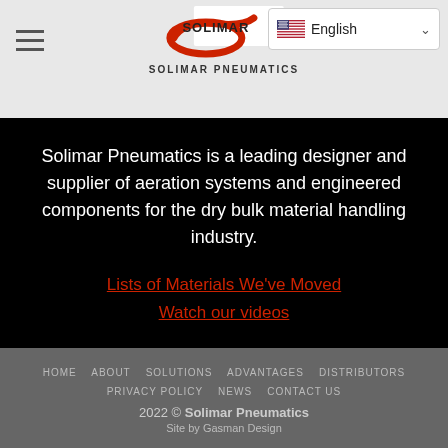Solimar Pneumatics — English language selector
[Figure (logo): Solimar Pneumatics logo with red swoosh and SOLIMAR PNEUMATICS text]
Solimar Pneumatics is a leading designer and supplier of aeration systems and engineered components for the dry bulk material handling industry.
Lists of Materials We've Moved
Watch our videos
HOME   ABOUT   SOLUTIONS   ADVANTAGES   DISTRIBUTORS   PRIVACY POLICY   NEWS   CONTACT US
2022 © Solimar Pneumatics
Site by Gasman Design